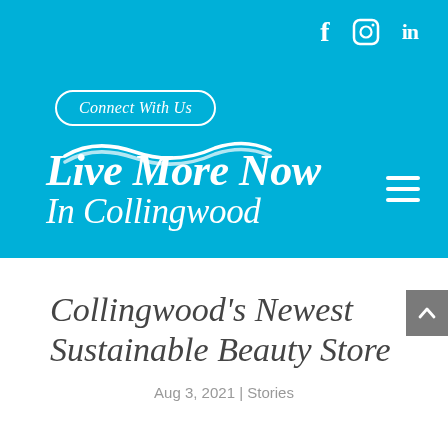[Figure (logo): Live More Now In Collingwood website header with blue background, social media icons (Facebook, Instagram, LinkedIn), Connect With Us button, wave graphic, and main logo text]
Collingwood's Newest Sustainable Beauty Store
Aug 3, 2021 | Stories